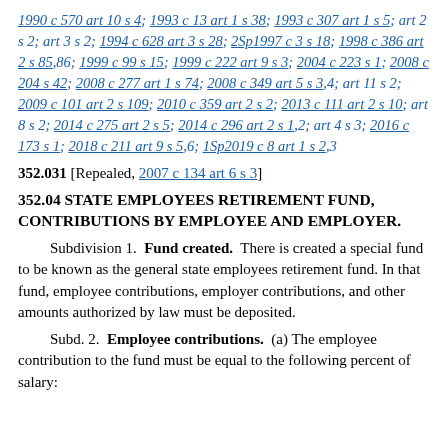1990 c 570 art 10 s 4; 1993 c 13 art 1 s 38; 1993 c 307 art 1 s 5; art 2 s 2; art 3 s 2; 1994 c 628 art 3 s 28; 2Sp1997 c 3 s 18; 1998 c 386 art 2 s 85,86; 1999 c 99 s 15; 1999 c 222 art 9 s 3; 2004 c 223 s 1; 2008 c 204 s 42; 2008 c 277 art 1 s 74; 2008 c 349 art 5 s 3,4; art 11 s 2; 2009 c 101 art 2 s 109; 2010 c 359 art 2 s 2; 2013 c 111 art 2 s 10; art 8 s 2; 2014 c 275 art 2 s 5; 2014 c 296 art 2 s 1,2; art 4 s 3; 2016 c 173 s 1; 2018 c 211 art 9 s 5,6; 1Sp2019 c 8 art 1 s 2,3
352.031 [Repealed, 2007 c 134 art 6 s 3]
352.04 STATE EMPLOYEES RETIREMENT FUND, CONTRIBUTIONS BY EMPLOYEE AND EMPLOYER.
Subdivision 1. Fund created. There is created a special fund to be known as the general state employees retirement fund. In that fund, employee contributions, employer contributions, and other amounts authorized by law must be deposited.
Subd. 2. Employee contributions. (a) The employee contribution to the fund must be equal to the following percent of salary: